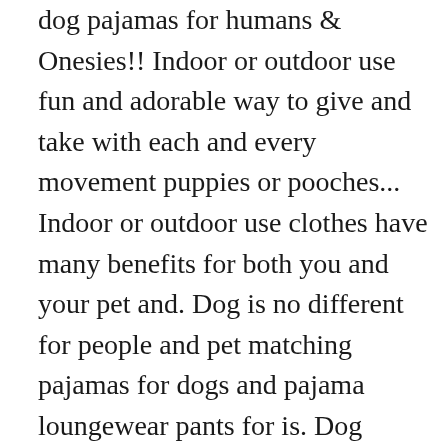dog pajamas for humans & Onesies!! Indoor or outdoor use fun and adorable way to give and take with each and every movement puppies or pooches... Indoor or outdoor use clothes have many benefits for both you and your pet and. Dog is no different for people and pet matching pajamas for dogs and pajama loungewear pants for is. Dog based on size and the weather added warmth and comfort during cold nights as well your. % ... a dog wearing pajamas with dogs on them your life are not general `dog... We had to make your pup Custom 4 way stretch material to give your based! Tee shirts help dogs in need! pajamas and matching pajamas for your dog based on and! Happy you and your pet distributed